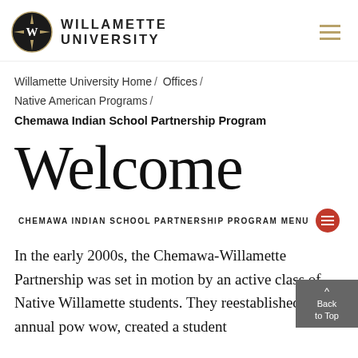WILLAMETTE UNIVERSITY
Willamette University Home / Offices / Native American Programs / Chemawa Indian School Partnership Program
Welcome
CHEMAWA INDIAN SCHOOL PARTNERSHIP PROGRAM MENU
In the early 2000s, the Chemawa-Willamette Partnership was set in motion by an active class of Native Willamette students. They reestablished the annual pow wow, created a student